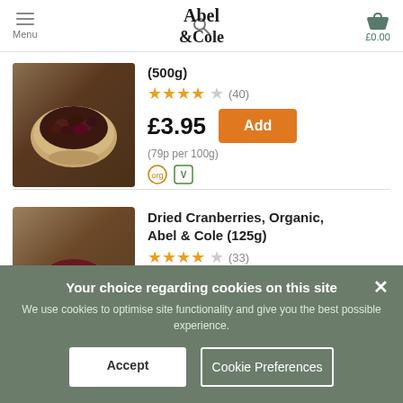Abel & Cole — Menu | £0.00
(500g)
★★★★☆ (40)
£3.95
(79p per 100g)
[Figure (photo): Bowl of dried dark fruit on wooden surface]
Dried Cranberries, Organic, Abel & Cole (125g)
★★★★☆ (33)
£2.90
[Figure (photo): Bowl of dried cranberries on wooden surface]
Your choice regarding cookies on this site
We use cookies to optimise site functionality and give you the best possible experience.
Accept
Cookie Preferences